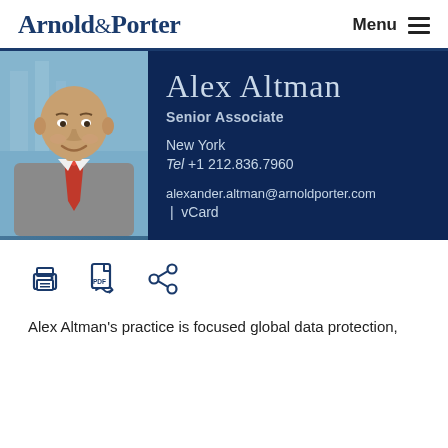Arnold & Porter  Menu
[Figure (photo): Headshot of Alex Altman, a bald man in a grey suit with red tie, smiling, with blurred city background]
Alex Altman
Senior Associate
New York
Tel +1 212.836.7960
alexander.altman@arnoldporter.com | vCard
[Figure (infographic): Three icons: print icon, PDF icon, share icon]
Alex Altman's practice is focused global data protection,